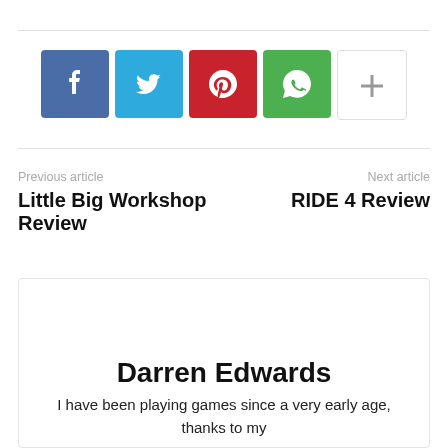[Figure (other): Social media share buttons: Facebook (blue), Twitter (light blue), Pinterest (red), WhatsApp (green), More/plus (white with border)]
Previous article
Little Big Workshop Review
Next article
RIDE 4 Review
Darren Edwards
I have been playing games since a very early age, thanks to my